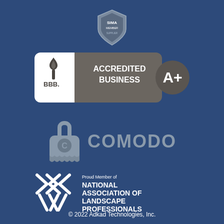[Figure (logo): SIMA Member shield badge logo at top center]
[Figure (logo): BBB Accredited Business A+ rating badge with torch flame icon on white background and dark gray banner]
[Figure (logo): Comodo security padlock logo with gray lock icon and COMODO text in gray]
[Figure (logo): National Association of Landscape Professionals logo with Proud Member of text and chevron arrow icon]
© 2022 Adkad Technologies, Inc.